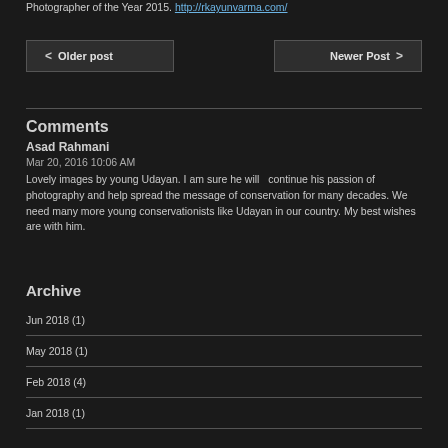Photographer of the Year 2015. http://rkayunvarma.com/
< Older post
Newer Post >
Comments
Asad Rahmani
Mar 20, 2016 10:06 AM
Lovely images by young Udayan. I am sure he will   continue his passion of photography and help spread the message of conservation for many decades. We need many more young conservationists like Udayan in our country. My best wishes are with him.
Archive
Jun 2018 (1)
May 2018 (1)
Feb 2018 (4)
Jan 2018 (1)